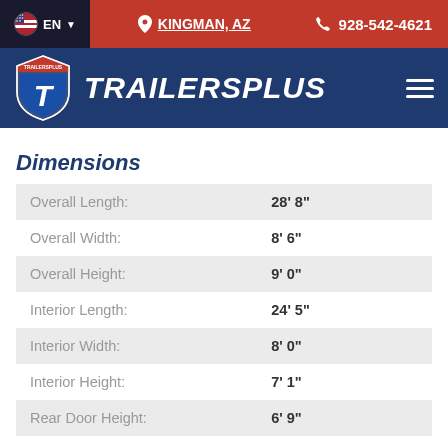EN | KINGMAN, AZ | 928-542-4621
[Figure (logo): TrailersPlus shield logo with letter T and brand name TRAILERSPLUS]
Dimensions
| Dimension | Value |
| --- | --- |
| Overall Length: | 28' 8" |
| Overall Width: | 8' 6" |
| Overall Height: | 9' 0" |
| Interior Length: | 24' 5" |
| Interior Width: | 8' 0" |
| Interior Height: | 7' 1" |
| Rear Door Height: | 6' 9" |